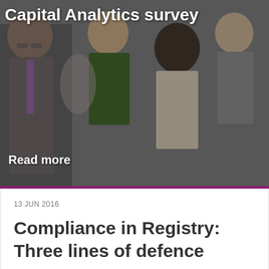[Figure (photo): Group of diverse professionals in a meeting or presentation, clapping and smiling, with text overlay 'Capital Analytics survey' at the top and 'Read more' at the bottom left]
Capital Analytics survey
Read more
13 JUN 2016
Compliance in Registry: Three lines of defence